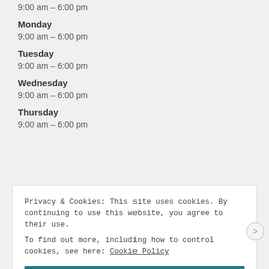9:00 am – 6:00 pm
Monday
9:00 am – 6:00 pm
Tuesday
9:00 am – 6:00 pm
Wednesday
9:00 am – 6:00 pm
Thursday
9:00 am – 6:00 pm
Privacy & Cookies: This site uses cookies. By continuing to use this website, you agree to their use.
To find out more, including how to control cookies, see here: Cookie Policy
Close and accept